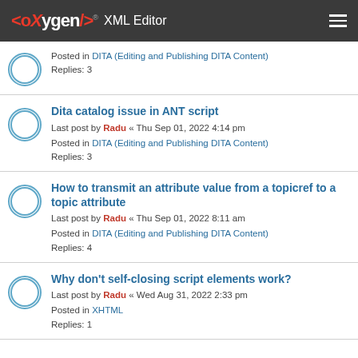<oXygen/> XML Editor
Posted in DITA (Editing and Publishing DITA Content)
Replies: 3
Dita catalog issue in ANT script
Last post by Radu « Thu Sep 01, 2022 4:14 pm
Posted in DITA (Editing and Publishing DITA Content)
Replies: 3
How to transmit an attribute value from a topicref to a topic attribute
Last post by Radu « Thu Sep 01, 2022 8:11 am
Posted in DITA (Editing and Publishing DITA Content)
Replies: 4
Why don't self-closing script elements work?
Last post by Radu « Wed Aug 31, 2022 2:33 pm
Posted in XHTML
Replies: 1